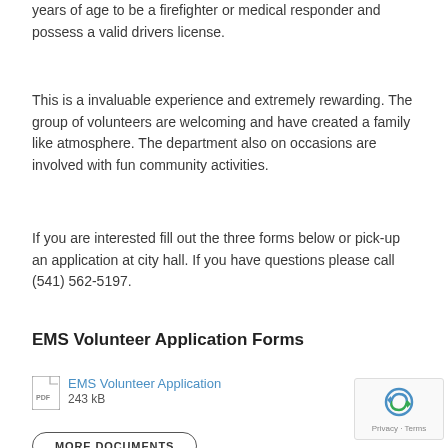years of age to be a firefighter or medical responder and possess a valid drivers license.
This is a invaluable experience and extremely rewarding. The group of volunteers are welcoming and have created a family like atmosphere.  The department also on occasions are involved with fun community activities.
If you are interested fill out the three forms below or pick-up an application at city hall. If you have questions please call (541) 562-5197.
EMS Volunteer Application Forms
EMS Volunteer Application
243 kB
MORE DOCUMENTS